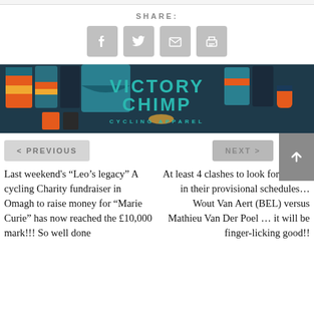SHARE:
[Figure (other): Share icons: Facebook, Twitter, Email, Print]
[Figure (other): Victory Chimp cycling apparel banner advertisement]
< PREVIOUS
NEXT >
Last weekend's "Leo's legacy" A cycling Charity fundraiser in Omagh to raise money for "Marie Curie" has now reached the £10,000 mark!!! So well done
At least 4 clashes to look forward to in their provisional schedules… Wout Van Aert (BEL) versus Mathieu Van Der Poel … it will be finger-licking good!!